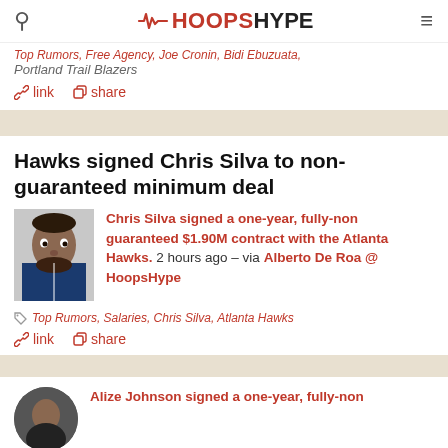HoopsHype
Top Rumors, Free Agency, Joe Cronin, Bidi Ebuzuata, Portland Trail Blazers
link   share
Hawks signed Chris Silva to non-guaranteed minimum deal
Chris Silva signed a one-year, fully-non guaranteed $1.90M contract with the Atlanta Hawks. 2 hours ago – via Alberto De Roa @ HoopsHype
Top Rumors, Salaries, Chris Silva, Atlanta Hawks
link   share
Alize Johnson signed a one-year, fully-non